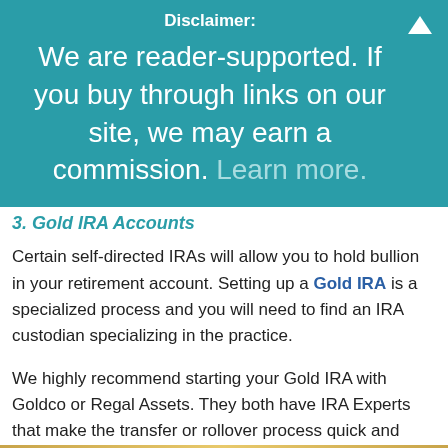Disclaimer:
We are reader-supported. If you buy through links on our site, we may earn a commission. Learn more.
3. Gold IRA Accounts
Certain self-directed IRAs will allow you to hold bullion in your retirement account. Setting up a Gold IRA is a specialized process and you will need to find an IRA custodian specializing in the practice.
We highly recommend starting your Gold IRA with Goldco or Regal Assets. They both have IRA Experts that make the transfer or rollover process quick and easy.
» Goldco specializes in Gold & Precious Metals IRAs.